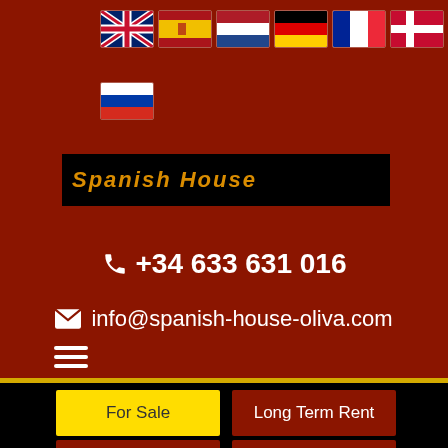[Figure (illustration): Row of country flags: UK, Spain, Netherlands, Germany, France, Denmark]
[Figure (illustration): Second row of flags: Russia]
[Figure (illustration): Black banner strip with orange/gold text partially visible]
+34 633 631 016
info@spanish-house-oliva.com
For Sale
Long Term Rent
Summer Let
Winter Let